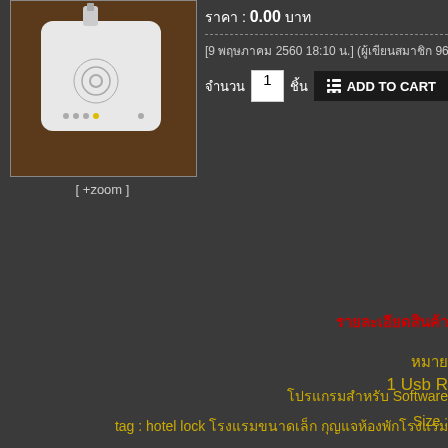[Figure (photo): White RFID card reader device on wooden surface]
[ +zoom ]
ราคา : 0.00 บาท
[9 พฤษภาคม 2560 18:10 น.] (ผู้เขียนสมาชิก 9658)
จำนวน 1 ชิ้น ADD TO CART
รายละเอียดสินค้า
หมาย
โปรแกรมสำหรับ Software
Size :
1 Usb R
tag : hotel lock โรงแรมขนาดเล็ก กุญแจห้องพักโรงแรม